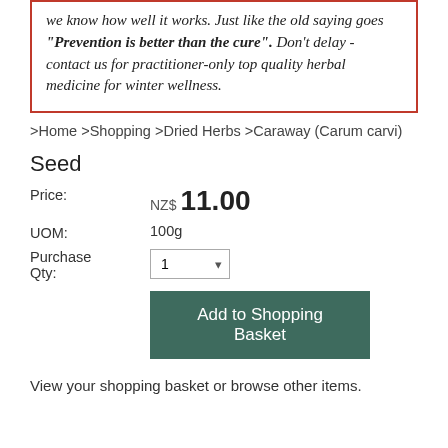we know how well it works. Just like the old saying goes "Prevention is better than the cure". Don't delay - contact us for practitioner-only top quality herbal medicine for winter wellness.
>Home >Shopping >Dried Herbs >Caraway (Carum carvi)
Seed
Price: NZ$ 11.00
UOM: 100g
Purchase Qty: 1
Add to Shopping Basket
View your shopping basket or browse other items.